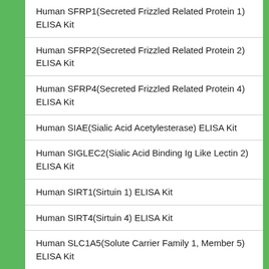Human SFRP1(Secreted Frizzled Related Protein 1) ELISA Kit
Human SFRP2(Secreted Frizzled Related Protein 2) ELISA Kit
Human SFRP4(Secreted Frizzled Related Protein 4) ELISA Kit
Human SIAE(Sialic Acid Acetylesterase) ELISA Kit
Human SIGLEC2(Sialic Acid Binding Ig Like Lectin 2) ELISA Kit
Human SIRT1(Sirtuin 1) ELISA Kit
Human SIRT4(Sirtuin 4) ELISA Kit
Human SLC1A5(Solute Carrier Family 1, Member 5) ELISA Kit